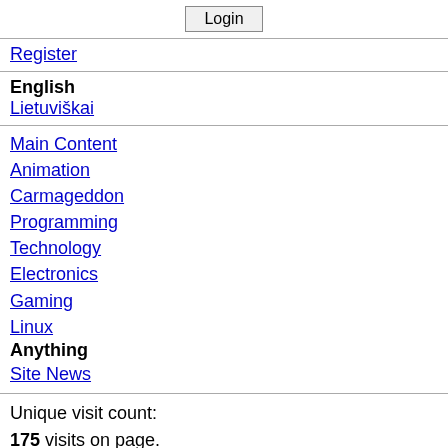Login
Register
English
Lietuviškai
Main Content
Animation
Carmageddon
Programming
Technology
Electronics
Gaming
Linux
Anything
Site News
Unique visit count:
175 visits on page.
301 visits on site.
Detailed Statistics
Misceleanous Content